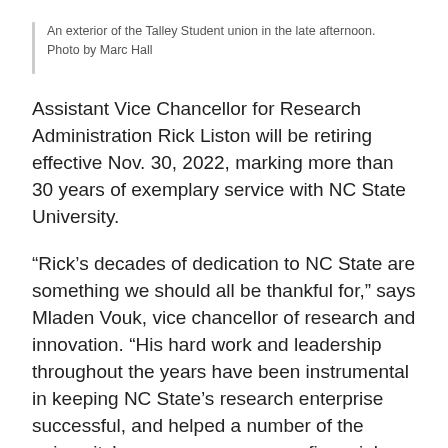An exterior of the Talley Student union in the late afternoon. Photo by Marc Hall
Assistant Vice Chancellor for Research Administration Rick Liston will be retiring effective Nov. 30, 2022, marking more than 30 years of exemplary service with NC State University.
“Rick’s decades of dedication to NC State are something we should all be thankful for,” says Mladen Vouk, vice chancellor of research and innovation. “His hard work and leadership throughout the years have been instrumental in keeping NC State’s research enterprise successful, and helped a number of the university’s processes — across financial, student and